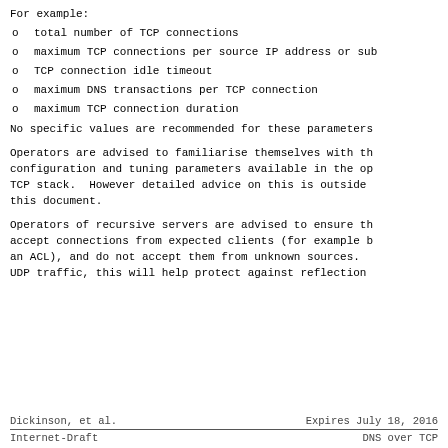For example:
o  total number of TCP connections
o  maximum TCP connections per source IP address or sub
o  TCP connection idle timeout
o  maximum DNS transactions per TCP connection
o  maximum TCP connection duration
No specific values are recommended for these parameters
Operators are advised to familiarise themselves with the configuration and tuning parameters available in the op TCP stack.  However detailed advice on this is outside this document.
Operators of recursive servers are advised to ensure th accept connections from expected clients (for example b an ACL), and do not accept them from unknown sources. UDP traffic, this will help protect against reflection
Dickinson, et al.        Expires July 18, 2016
Internet-Draft                    DNS over TCP